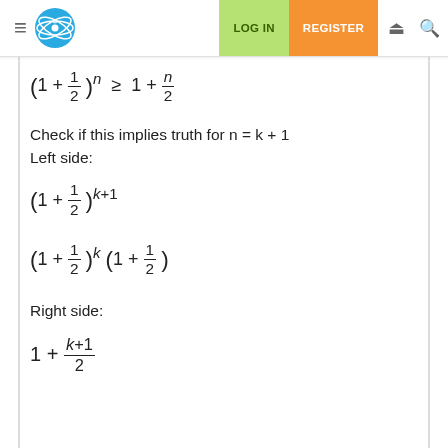≡ [logo] LOG IN | REGISTER
Check if this implies truth for n = k + 1
Left side:
Right side: